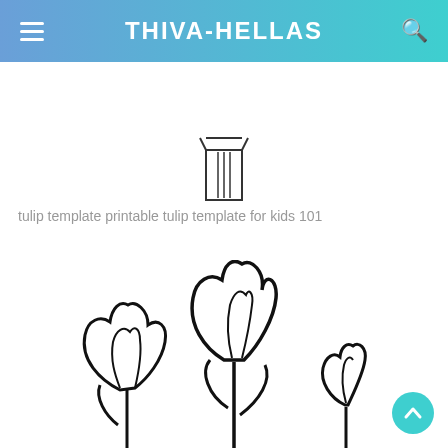THIVA-HELLAS
[Figure (illustration): Simple line drawing of a tulip stem with three vertical lines at the top, partial view]
tulip template printable tulip template for kids 101
[Figure (illustration): Line drawing of three tulip flowers with stems and leaves, outlines only in black on white background]